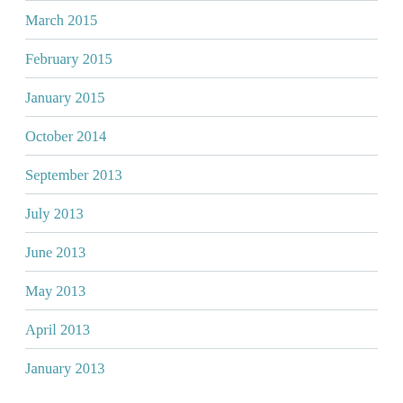March 2015
February 2015
January 2015
October 2014
September 2013
July 2013
June 2013
May 2013
April 2013
January 2013